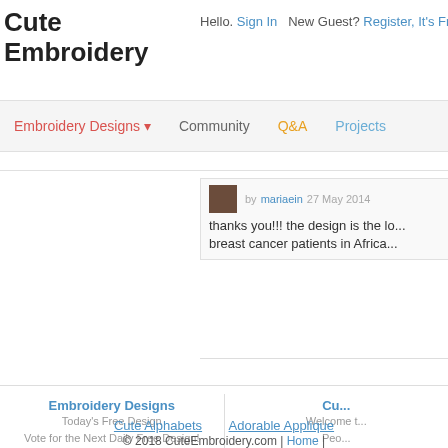Cute Embroidery
Hello. Sign In   New Guest? Register, It's Fre...
Embroidery Designs ▼   Community   Q&A   Projects
by mariaein 27 May 2014
thanks you!!! the design is the lo... breast cancer patients in Africa...
Embroidery Designs
Today's Free Design
Vote for the Next Daily Free Design!
Cu...
Welcome t...
Peo...
Cute Alphabets    Adorable Applique
© 2018 CuteEmbroidery.com | Home |